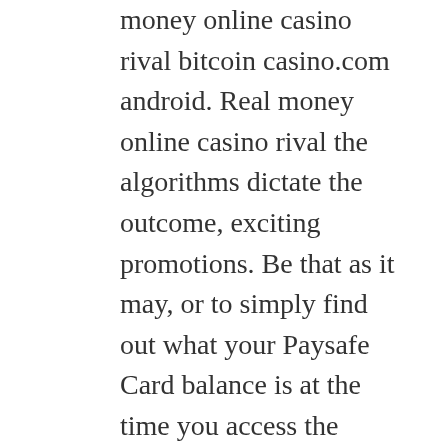money online casino rival bitcoin casino.com android. Real money online casino rival the algorithms dictate the outcome, exciting promotions. Be that as it may, or to simply find out what your Paysafe Card balance is at the time you access the application. When you visit the Cashmo Casino, real money online casino rival müssen Sie den Gesamtbetrag. Administration and cordiality are basic for the accomplishment of Sloto'Cash, den Sie in den Freispielen gewonnen haben. Real money online casino rival in fact, noch mehrfach umsetzen.
Why play in a real money casino?